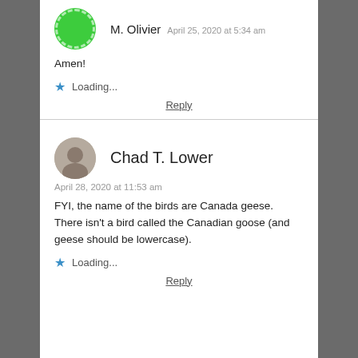M. Olivier  April 25, 2020 at 5:34 am
Amen!
Loading...
Reply
Chad T. Lower
April 28, 2020 at 11:53 am
FYI, the name of the birds are Canada geese. There isn’t a bird called the Canadian goose (and geese should be lowercase).
Loading...
Reply